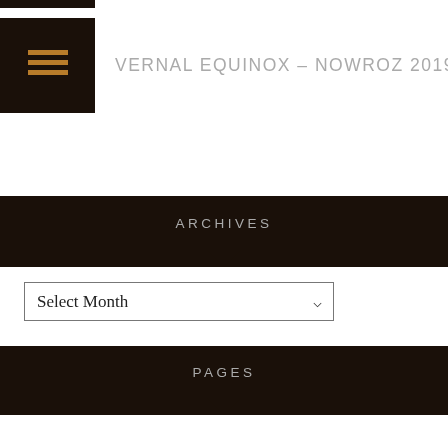VERNAL EQUINOX – NOWROZ 2019
ARCHIVES
Select Month
PAGES
About
Arabic Star Names
Assyrian Astrology
Astrological Consultations